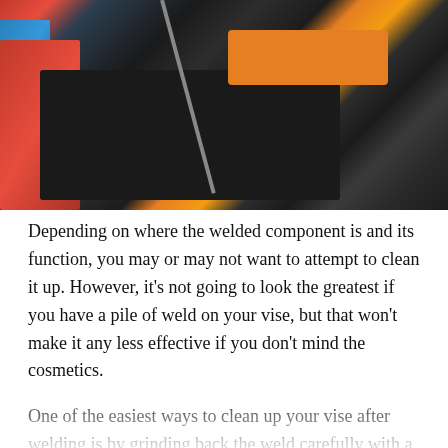[Figure (photo): Close-up photo of a black toolbox with an orange lid, metal welding rods resting on top, red and blue fabric/bags visible on the left side, dark industrial background.]
Depending on where the welded component is and its function, you may or may not want to attempt to clean it up. However, it's not going to look the greatest if you have a pile of weld on your vise, but that won't make it any less effective if you don't mind the cosmetics.
One of the easiest ways to clean up your vise after welding is by grinding back the weld carefully with a grinder before sanding it. Leave as much as the weld there as possible, but if the component needs to be smooth, then